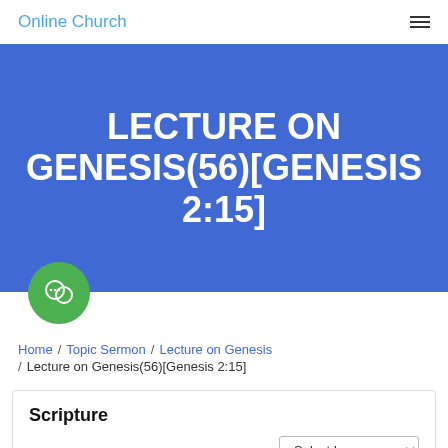Online Church
LECTURE ON GENESIS(56)[GENESIS 2:15]
Home / Topic Sermon / Lecture on Genesis / Lecture on Genesis(56)[Genesis 2:15]
Scripture
Genesis 2:15